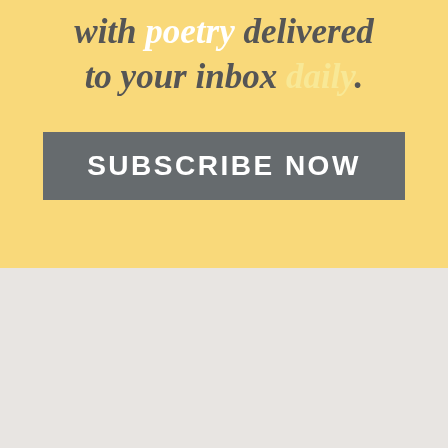with poetry delivered to your inbox daily.
[Figure (other): A yellow subscribe button/banner with text 'SUBSCRIBE NOW' in white on a gray rectangular button background]